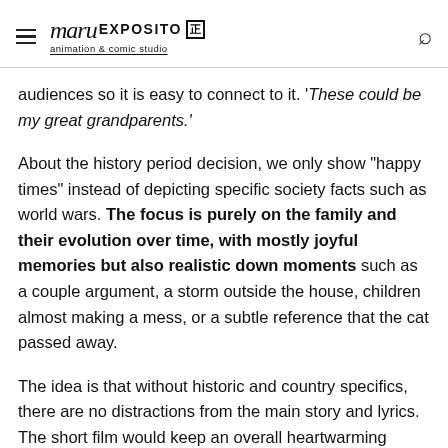maru exposito animation & comic studio
audiences so it is easy to connect to it. 'These could be my great grandparents.'
About the history period decision, we only show "happy times" instead of depicting specific society facts such as world wars. The focus is purely on the family and their evolution over time, with mostly joyful memories but also realistic down moments such as a couple argument, a storm outside the house, children almost making a mess, or a subtle reference that the cat passed away.
The idea is that without historic and country specifics, there are no distractions from the main story and lyrics. The short film would keep an overall heartwarming